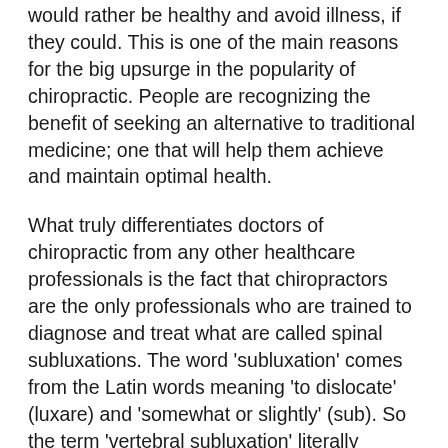would rather be healthy and avoid illness, if they could. This is one of the main reasons for the big upsurge in the popularity of chiropractic. People are recognizing the benefit of seeking an alternative to traditional medicine; one that will help them achieve and maintain optimal health.
What truly differentiates doctors of chiropractic from any other healthcare professionals is the fact that chiropractors are the only professionals who are trained to diagnose and treat what are called spinal subluxations. The word 'subluxation' comes from the Latin words meaning 'to dislocate' (luxare) and 'somewhat or slightly' (sub). So the term 'vertebral subluxation' literally means a slight dislocation (misalignment) of the bones in the spine. Although this term was adequate in the 1800s when much was still misunderstood about the human body, today the word 'subluxation' has changed in meaning to capture the complex of neurological, structural, and functional